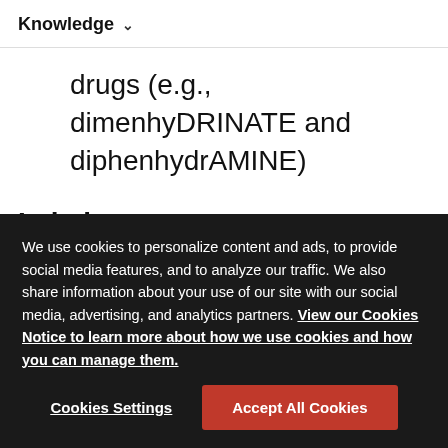Knowledge
drugs (e.g., dimenhyDRINATE and diphenhydrAMINE)
Labels:
Labels on medication storage containers must be
We use cookies to personalize content and ads, to provide social media features, and to analyze our traffic. We also share information about your use of our site with our social media, advertising, and analytics partners. View our Cookies Notice to learn more about how we use cookies and how you can manage them.
Cookies Settings
Accept All Cookies